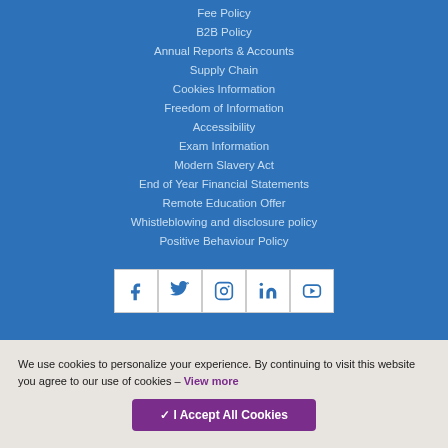Fee Policy
B2B Policy
Annual Reports & Accounts
Supply Chain
Cookies Information
Freedom of Information
Accessibility
Exam Information
Modern Slavery Act
End of Year Financial Statements
Remote Education Offer
Whistleblowing and disclosure policy
Positive Behaviour Policy
[Figure (other): Social media icon bar with Facebook, Twitter, Instagram, LinkedIn, and YouTube icons]
We use cookies to personalize your experience. By continuing to visit this website you agree to our use of cookies – View more